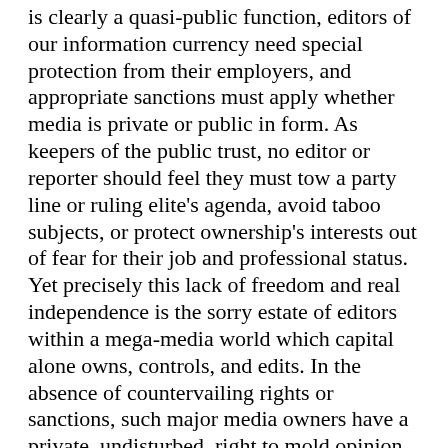is clearly a quasi-public function, editors of our information currency need special protection from their employers, and appropriate sanctions must apply whether media is private or public in form. As keepers of the public trust, no editor or reporter should feel they must tow a party line or ruling elite's agenda, avoid taboo subjects, or protect ownership's interests out of fear for their job and professional status. Yet precisely this lack of freedom and real independence is the sorry estate of editors within a mega-media world which capital alone owns, controls, and edits. In the absence of countervailing rights or sanctions, such major media owners have a private, undisturbed, right to mold opinion as they see fit, and to maintain a mere pretense of objectivity, or none at all. With impunity, they may not hire those with whom they disagree, and fire any who stray from their party line. Objectivity and Fairness Doctrines have been dropped and so major media owner's prerogatives now prevail. In practice, still editors must beware of the...